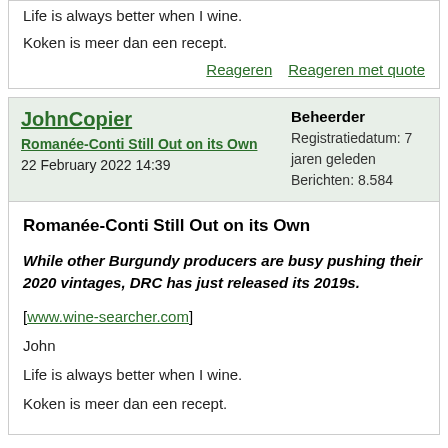Life is always better when I wine.
Koken is meer dan een recept.
Reageren    Reageren met quote
JohnCopier
Romanée-Conti Still Out on its Own
22 February 2022 14:39
Beheerder
Registratiedatum: 7 jaren geleden
Berichten: 8.584
Romanée-Conti Still Out on its Own
While other Burgundy producers are busy pushing their 2020 vintages, DRC has just released its 2019s.
[www.wine-searcher.com]
John
Life is always better when I wine.
Koken is meer dan een recept.